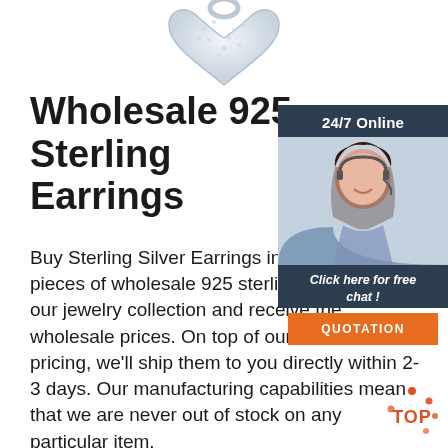[Figure (photo): Silver heart-shaped jewelry pendant with crystal/diamond pave design, partially visible at top of page]
Wholesale 925 Sterling Silver Earrings
[Figure (infographic): 24/7 Online chat widget: dark navy background with photo of smiling woman with headset, 'Click here for free chat!' text, and orange QUOTATION button]
Buy Sterling Silver Earrings in Bulk. Order 3-5 pieces of wholesale 925 sterling silver from our jewelry collection and receive the wholesale prices. On top of our excellent pricing, we'll ship them to you directly within 2-3 days. Our manufacturing capabilities mean that we are never out of stock on any particular item.
[Figure (illustration): Orange and red 'TOP' badge with circular arrow icon]